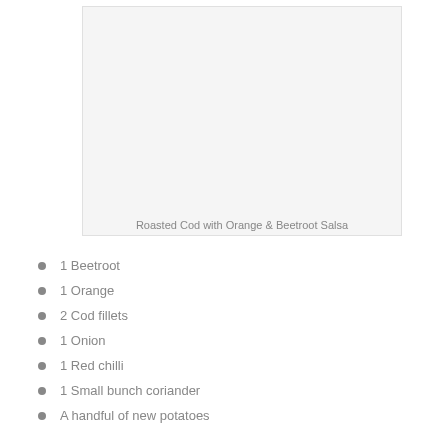[Figure (photo): Blank/white image placeholder for Roasted Cod with Orange & Beetroot Salsa]
Roasted Cod with Orange & Beetroot Salsa
1 Beetroot
1 Orange
2 Cod fillets
1 Onion
1 Red chilli
1 Small bunch coriander
A handful of new potatoes